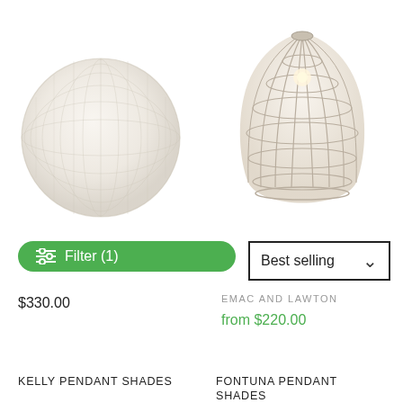[Figure (photo): White woven/mesh sphere pendant lamp shade, cropped from below, white background]
[Figure (photo): Beige/natural woven cage-style pendant lamp shade with visible light bulb inside, white background]
$330.00
Filter (1)
Best selling
EMAC AND LAWTON
from $220.00
KELLY PENDANT SHADES
FONTUNA PENDANT SHADES